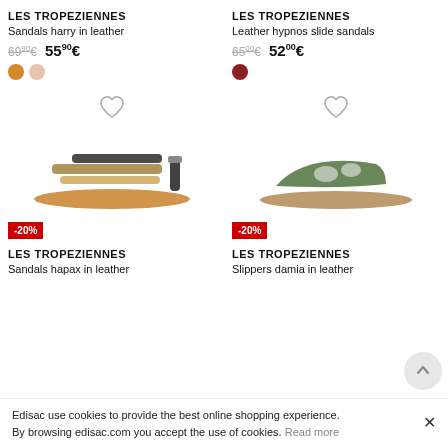LES TROPEZIENNES
Sandals harry in leather
69⁺⁰€  55⁹⁰€
LES TROPEZIENNES
Leather hypnos slide sandals
65⁰⁰€  52⁰⁰€
[Figure (photo): Sandals hapax in leather product photo, multi-strap leather sandal with patterned straps]
[Figure (photo): Slippers damia in leather product photo, green leather slide sandal]
LES TROPEZIENNES
Sandals hapax in leather
LES TROPEZIENNES
Slippers damia in leather
Edisac use cookies to provide the best online shopping experience. By browsing edisac.com you accept the use of cookies. Read more